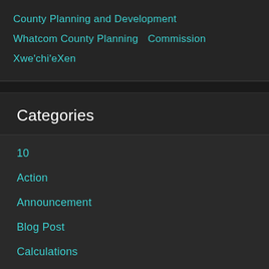County Planning and Development
Whatcom County Planning Commission
Xwe'chi'eXen
Categories
10
Action
Announcement
Blog Post
Calculations
Call for Submissions
Campaign
Commentary
Complaints